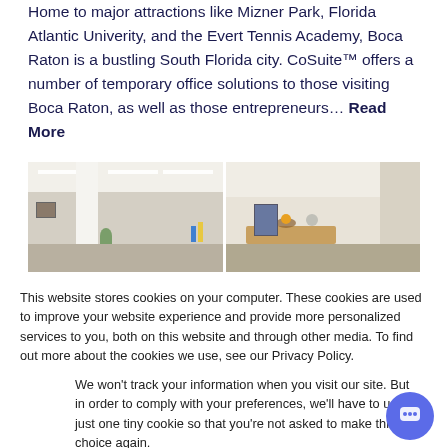Home to major attractions like Mizner Park, Florida Atlantic Univerity, and the Evert Tennis Academy, Boca Raton is a bustling South Florida city. CoSuite™ offers a number of temporary office solutions to those visiting Boca Raton, as well as those entrepreneurs… Read More
[Figure (photo): Interior photo of a modern office space showing white columns, hallway, and a reception/counter area with decorative items]
This website stores cookies on your computer. These cookies are used to improve your website experience and provide more personalized services to you, both on this website and through other media. To find out more about the cookies we use, see our Privacy Policy.
We won't track your information when you visit our site. But in order to comply with your preferences, we'll have to use just one tiny cookie so that you're not asked to make this choice again.